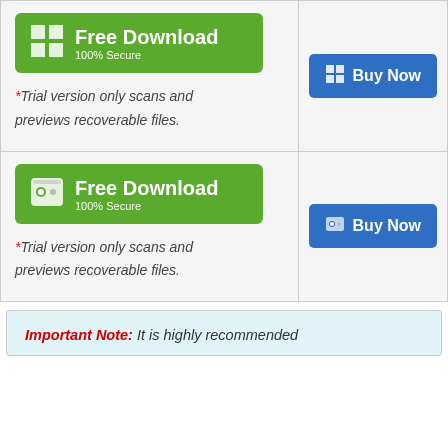[Figure (screenshot): Green Free Download button for Windows with Windows icon and '100% Secure' subtitle]
[Figure (screenshot): Blue Buy Now button for Windows with Windows icon]
*Trial version only scans and previews recoverable files.
[Figure (screenshot): Green Free Download button for Mac with Mac Finder icon and '100% Secure' subtitle]
[Figure (screenshot): Blue Buy Now button for Mac with Mac icon]
*Trial version only scans and previews recoverable files.
Important Note: It is highly recommended